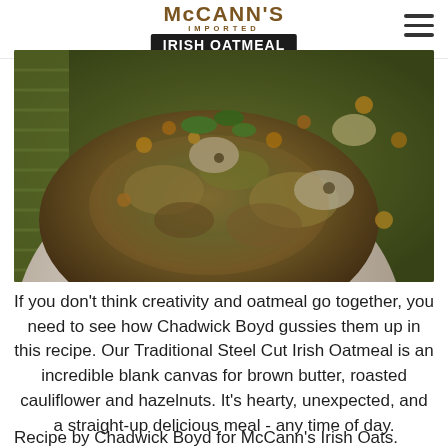McCANN'S IMPORTED IRISH OATMEAL
[Figure (photo): Bowl of savory oatmeal topped with roasted cauliflower, hazelnuts, brown butter, and fresh herbs on a green background]
If you don't think creativity and oatmeal go together, you need to see how Chadwick Boyd gussies them up in this recipe. Our Traditional Steel Cut Irish Oatmeal is an incredible blank canvas for brown butter, roasted cauliflower and hazelnuts. It's hearty, unexpected, and a straight-up delicious meal - any time of day.
Recipe by Chadwick Boyd for McCann's Irish Oats.